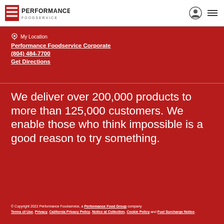[Figure (logo): Performance Foodservice logo with red bars and text]
My Location
Performance Foodservice Corporate
(804) 484-7700
Get Directions
We deliver over 200,000 products to more than 125,000 customers. We enable those who think impossible is a good reason to try something.
© Copyright 2022 Performance Foodservice, a Performance Food Group company Terms of Use, Privacy, California Privacy Policy, Notice at Collection, Cookie Policy and Fuel Surcharge Notice.